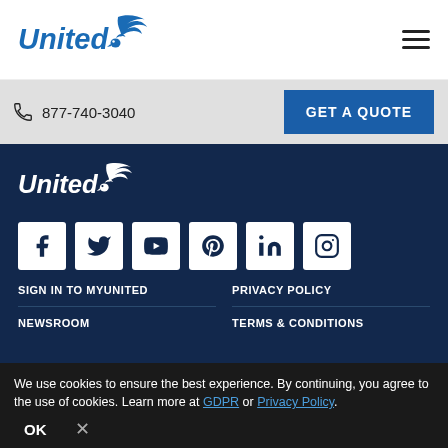[Figure (logo): United Airlines logo with eagle graphic in blue, header version]
[Figure (other): Hamburger menu icon (three horizontal lines)]
877-740-3040
GET A QUOTE
[Figure (logo): United Airlines logo with eagle graphic in white, footer version]
[Figure (other): Social media icons row: Facebook, Twitter, YouTube, Pinterest, LinkedIn, Instagram]
SIGN IN TO MYUNITED
PRIVACY POLICY
NEWSROOM
TERMS & CONDITIONS
We use cookies to ensure the best experience. By continuing, you agree to the use of cookies. Learn more at GDPR or Privacy Policy.
OK
×